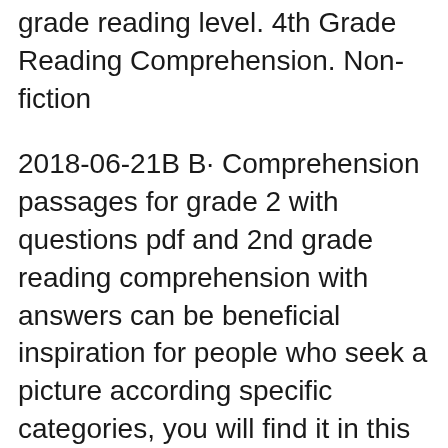grade reading level. 4th Grade Reading Comprehension. Non-fiction
2018-06-21В В· Comprehension passages for grade 2 with questions pdf and 2nd grade reading comprehension with answers can be beneficial inspiration for people who seek a picture according specific categories, you will find it in this website. Finally all pictures we have been displayed in this website will inspire you all. Thank you. Back To Free Printable Second Grade Reading Comprehension вЂ¦ Reading Comprehension Test 9th Grade: Free Online PDF Test Using 9TH Grade Standardized Test to practice helps to raise reading test scores! 9th Grade